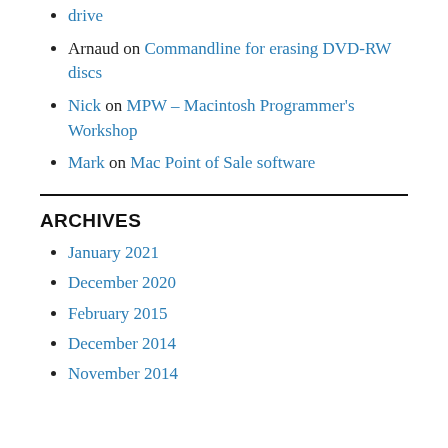drive
Arnaud on Commandline for erasing DVD-RW discs
Nick on MPW – Macintosh Programmer's Workshop
Mark on Mac Point of Sale software
ARCHIVES
January 2021
December 2020
February 2015
December 2014
November 2014